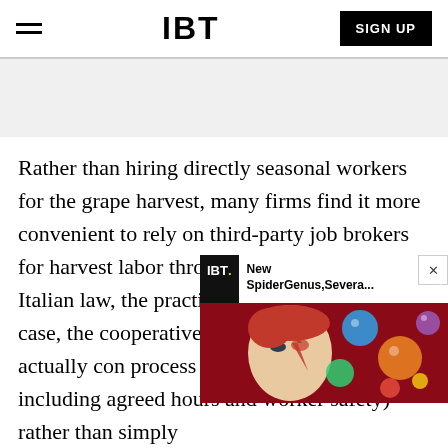IBT | SIGN UP
[Figure (other): Gray advertisement banner area]
Rather than hiring directly seasonal workers for the grape harvest, many firms find it more convenient to rely on third-party job brokers for harvest labor through a cooperative. Under Italian law, the practice is legal as long as this case, the cooperative -- production and actually con process (supervising the work, including agreed hours and worker safety) rather than simply
[Figure (other): Overlay advertisement card for IBT showing 'New SpiderGenus,Severa...' with a colorful image of David Bowie face painting and planet spheres on dark red background]